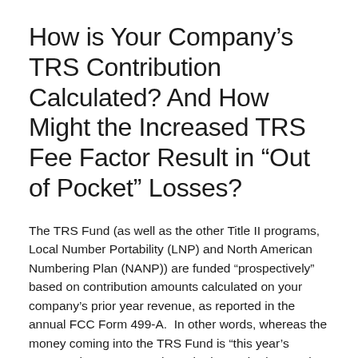How is Your Company's TRS Contribution Calculated? And How Might the Increased TRS Fee Factor Result in “Out of Pocket” Losses?
The TRS Fund (as well as the other Title II programs, Local Number Portability (LNP) and North American Numbering Plan (NANP)) are funded “prospectively” based on contribution amounts calculated on your company’s prior year revenue, as reported in the annual FCC Form 499-A.  In other words, whereas the money coming into the TRS Fund is “this year’s money,” the amount each carrier is required to pay is based on “last year’s revenue.”  And because many carriers recover their TRS Fund costs through a Regulatory Cost